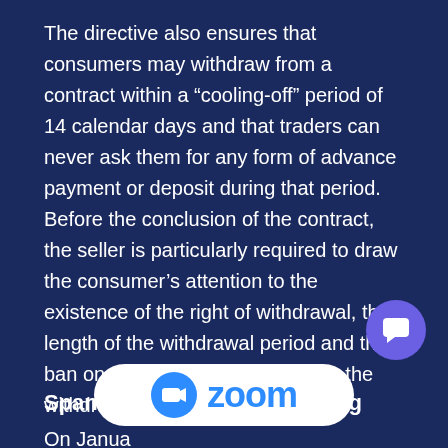The directive also ensures that consumers may withdraw from a contract within a “cooling-off” period of 14 calendar days and that traders can never ask them for any form of advance payment or deposit during that period. Before the conclusion of the contract, the seller is particularly required to draw the consumer’s attention to the existence of the right of withdrawal, the length of the withdrawal period and the ban on advance payments during the withdrawal period.
Spanish ... ruling
On January 15th 2015, a ruling by the Spanish